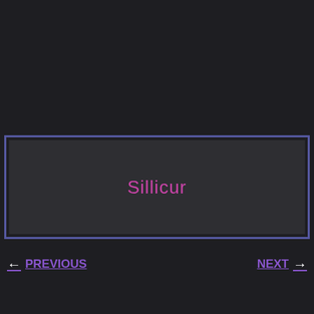[Figure (screenshot): A dark UI panel with a blue/purple border containing a dark inner box with the text 'Sillicur' in magenta/pink color centered within it.]
Sillicur
← PREVIOUS
NEXT →